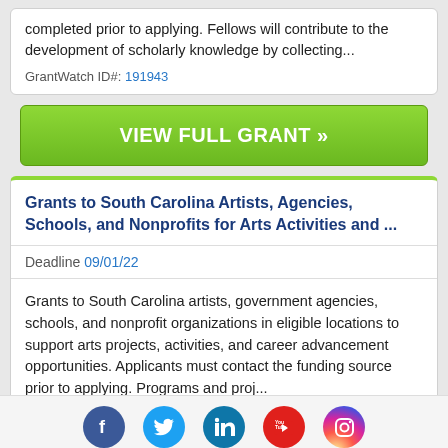completed prior to applying. Fellows will contribute to the development of scholarly knowledge by collecting...
GrantWatch ID#: 191943
VIEW FULL GRANT »
Grants to South Carolina Artists, Agencies, Schools, and Nonprofits for Arts Activities and ...
Deadline 09/01/22
Grants to South Carolina artists, government agencies, schools, and nonprofit organizations in eligible locations to support arts projects, activities, and career advancement opportunities. Applicants must contact the funding source prior to applying. Programs and proj...
GrantWatch ID#: 176654
[Figure (infographic): Social media icons row: Facebook (blue circle), Twitter (light blue circle), LinkedIn (teal circle), YouTube (red circle), Instagram (gradient circle)]